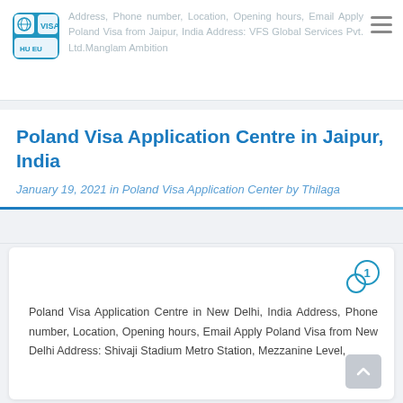Address, Phone number, Location, Opening hours, Email Apply Poland Visa from Jaipur, India Address: VFS Global Services Pvt. Ltd.Manglam Ambition
Poland Visa Application Centre in Jaipur, India
January 19, 2021  in Poland Visa Application Center by Thilaga
Poland Visa Application Centre in New Delhi, India Address, Phone number, Location, Opening hours, Email Apply Poland Visa from New Delhi Address: Shivaji Stadium Metro Station, Mezzanine Level,